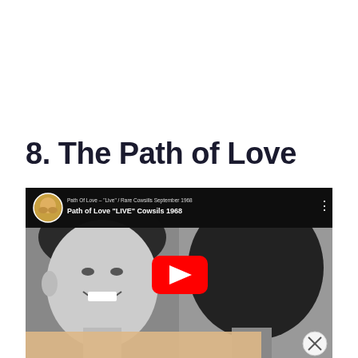8. The Path of Love
[Figure (screenshot): YouTube video embed showing 'Path of Love LIVE Cowsils 1968' with thumbnail of black and white photos of a young person against an orange background, with YouTube play button overlay. Top bar shows channel avatar, subtitle 'Path Of Love - Live / Rare Cowsills September 1968', title 'Path of Love "LIVE" Cowsils 1968'. Bottom shows ad banner with close button.]